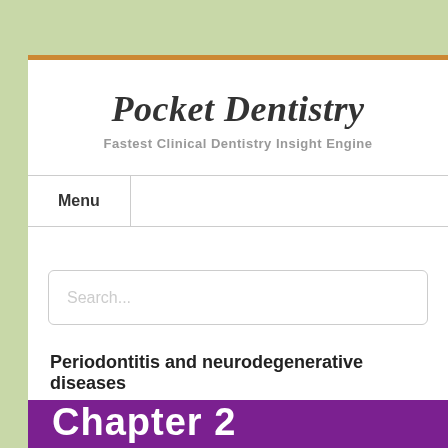Pocket Dentistry
Fastest Clinical Dentistry Insight Engine
Menu
Search...
Periodontitis and neurodegenerative diseases
Chapter 2